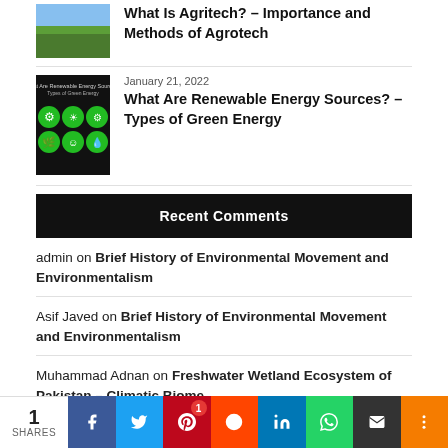[Figure (photo): Thumbnail photo of a green field/agricultural land]
What Is Agritech? – Importance and Methods of Agrotech
[Figure (illustration): Thumbnail illustration of renewable energy icons including wind turbines, solar, leaf, water, and industry symbols on green circles with text 'What Are Renewable Energy Sources? Types of Green Energy']
January 21, 2022
What Are Renewable Energy Sources? – Types of Green Energy
Recent Comments
admin on Brief History of Environmental Movement and Environmentalism
Asif Javed on Brief History of Environmental Movement and Environmentalism
Muhammad Adnan on Freshwater Wetland Ecosystem of Pakistan – Climatic Biome
1 SHARES | f | Twitter | Pinterest | Reddit | in | WhatsApp | Email | More